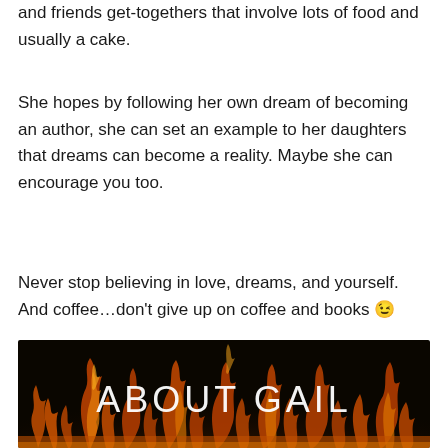and friends get-togethers that involve lots of food and usually a cake.
She hopes by following her own dream of becoming an author, she can set an example to her daughters that dreams can become a reality. Maybe she can encourage you too.
Never stop believing in love, dreams, and yourself. And coffee...don’t give up on coffee and books 😉
[Figure (illustration): Dark banner image with orange fire flames at the bottom and the text ABOUT GAIL in white centered text]